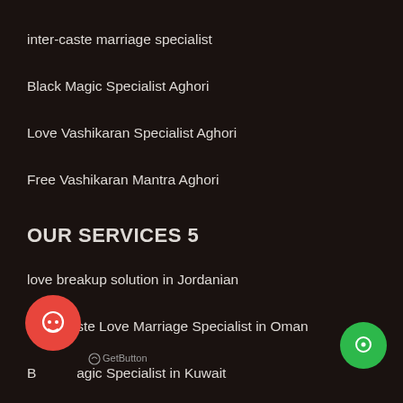inter-caste marriage specialist
Black Magic Specialist Aghori
Love Vashikaran Specialist Aghori
Free Vashikaran Mantra Aghori
OUR SERVICES 5
love breakup solution in Jordanian
Inter Caste Love Marriage Specialist in Oman
Black Magic Specialist in Kuwait
GetButton
Black Magic Specialist In Turkmenistan